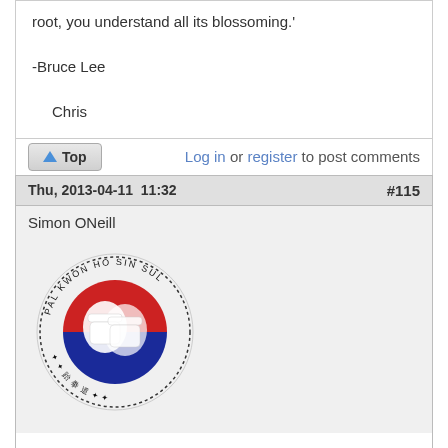root, you understand all its blossoming.'
-Bruce Lee
Chris
Log in or register to post comments
Thu, 2013-04-11  11:32  #115
Simon ONeill
[Figure (logo): PAL KWON HO SIN SUL circular martial arts logo with two fists (red and blue) on a Korean flag-style background]
Hello.

I was a member of the old forum and for a number of reasons didn't get round to signing on to the new forum until now.

My background is mainly in Kukki Tae Kwon Do, and I teach a self-defence syllabus based on my